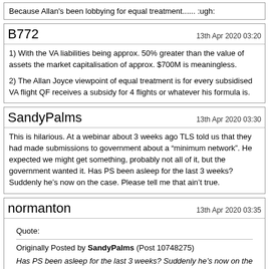Because Allan's been lobbying for equal treatment...... :ugh:
B772
13th Apr 2020 03:20
1) With the VA liabilities being approx. 50% greater than the value of assets the market capitalisation of approx. $700M is meaningless.

2) The Allan Joyce viewpoint of equal treatment is for every subsidised VA flight QF receives a subsidy for 4 flights or whatever his formula is.
SandyPalms
13th Apr 2020 03:30
This is hilarious. At a webinar about 3 weeks ago TLS told us that they had made submissions to government about a “minimum network”. He expected we might get something, probably not all of it, but the government wanted it. Has PS been asleep for the last 3 weeks? Suddenly he’s now on the case. Please tell me that ain’t true.
normanton
13th Apr 2020 03:35
Quote:
Originally Posted by SandyPalms (Post 10748275)
Has PS been asleep for the last 3 weeks? Suddenly he’s now on the case. Please tell me that ain’t true.